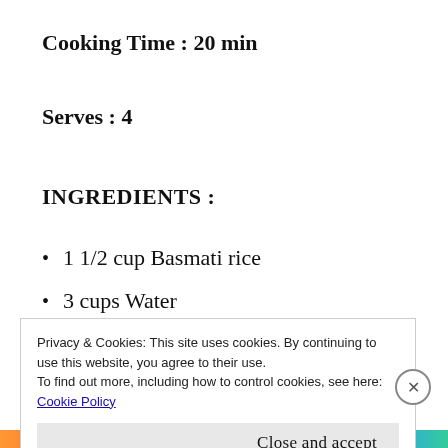Cooking Time : 20 min
Serves : 4
INGREDIENTS :
1 1/2 cup Basmati rice
3 cups Water
1/2 cup Green peas
1/2 cup Chopped French Beans
Privacy & Cookies: This site uses cookies. By continuing to use this website, you agree to their use.
To find out more, including how to control cookies, see here:
Cookie Policy
Close and accept